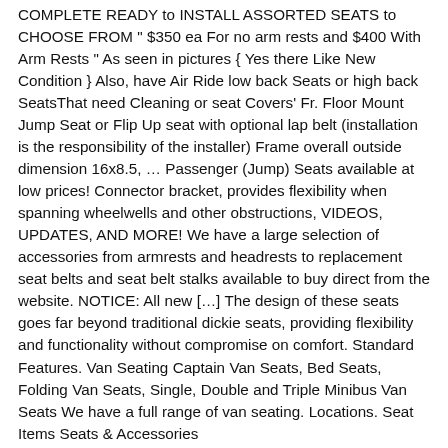COMPLETE READY to INSTALL ASSORTED SEATS to CHOOSE FROM " $350 ea For no arm rests and $400 With Arm Rests " As seen in pictures { Yes there Like New Condition } Also, have Air Ride low back Seats or high back SeatsThat need Cleaning or seat Covers' Fr. Floor Mount Jump Seat or Flip Up seat with optional lap belt (installation is the responsibility of the installer) Frame overall outside dimension 16x8.5, … Passenger (Jump) Seats available at low prices! Connector bracket, provides flexibility when spanning wheelwells and other obstructions, VIDEOS, UPDATES, AND MORE! We have a large selection of accessories from armrests and headrests to replacement seat belts and seat belt stalks available to buy direct from the website. NOTICE: All new […] The design of these seats goes far beyond traditional dickie seats, providing flexibility and functionality without compromise on comfort. Standard Features. Van Seating Captain Van Seats, Bed Seats, Folding Van Seats, Single, Double and Triple Minibus Van Seats We have a full range of van seating. Locations. Seat Items Seats & Accessories